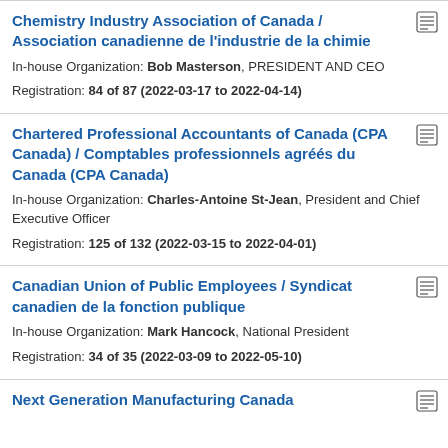Chemistry Industry Association of Canada / Association canadienne de l'industrie de la chimie
In-house Organization: Bob Masterson, PRESIDENT AND CEO
Registration: 84 of 87 (2022-03-17 to 2022-04-14)
Chartered Professional Accountants of Canada (CPA Canada) / Comptables professionnels agréés du Canada (CPA Canada)
In-house Organization: Charles-Antoine St-Jean, President and Chief Executive Officer
Registration: 125 of 132 (2022-03-15 to 2022-04-01)
Canadian Union of Public Employees / Syndicat canadien de la fonction publique
In-house Organization: Mark Hancock, National President
Registration: 34 of 35 (2022-03-09 to 2022-05-10)
Next Generation Manufacturing Canada